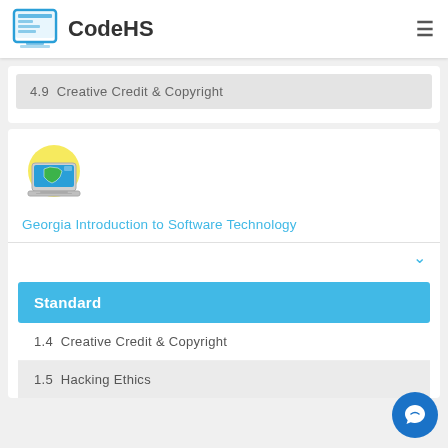CodeHS
4.9  Creative Credit & Copyright
[Figure (illustration): Laptop icon with Georgia state outline on screen and yellow background circle, representing Georgia Introduction to Software Technology course]
Georgia Introduction to Software Technology
Standard
1.4  Creative Credit & Copyright
1.5  Hacking Ethics